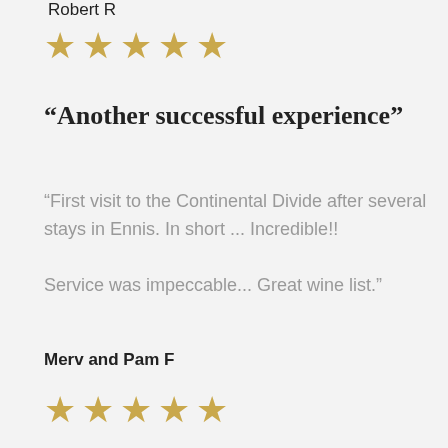Robert R
[Figure (other): Five gold stars rating]
“Another successful experience”
“First visit to the Continental Divide after several stays in Ennis. In short ... Incredible!! Service was impeccable... Great wine list.”
Merv and Pam F
[Figure (other): Five gold stars rating]